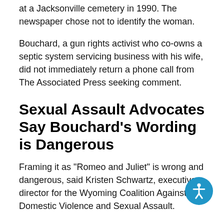at a Jacksonville cemetery in 1990. The newspaper chose not to identify the woman.
Bouchard, a gun rights activist who co-owns a septic system servicing business with his wife, did not immediately return a phone call from The Associated Press seeking comment.
Sexual Assault Advocates Say Bouchard’s Wording is Dangerous
Framing it as “Romeo and Juliet” is wrong and dangerous, said Kristen Schwartz, executive director for the Wyoming Coalition Against Domestic Violence and Sexual Assault.
“Laws exist to protect young people involved in these situations,” Schwartz said. “There’s a reason we have laws against sexual abuse of a minor and it’s because the br of a 14-year-old is not developed enough to make m decisions about sex and sexuality.””